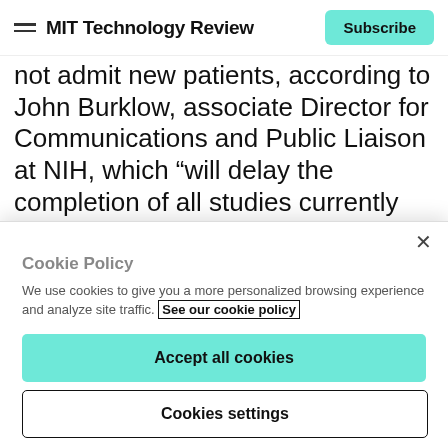MIT Technology Review | Subscribe
not admit new patients, according to John Burklow, associate Director for Communications and Public Liaison at NIH, which “will delay the completion of all studies currently active at the Clinical Center.”
Burklow says there are approximately 640 clinical trials (and 1,443 variations, or protocols, within those clinical trials) at the Clinical Center.
Cookie Policy
We use cookies to give you a more personalized browsing experience and analyze site traffic. See our cookie policy
Accept all cookies
Cookies settings